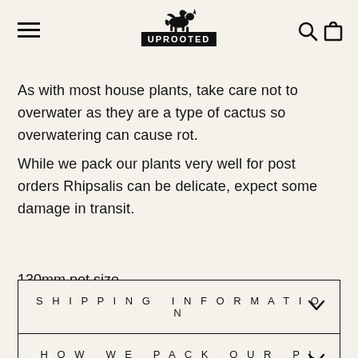UPROOTED
As with most house plants, take care not to overwater as they are a type of cactus so overwatering can cause rot.
While we pack our plants very well for post orders Rhipsalis can be delicate, expect some damage in transit.
130mm pot size
SHIPPING INFORMATION
HOW WE PACK OUR PLANTS